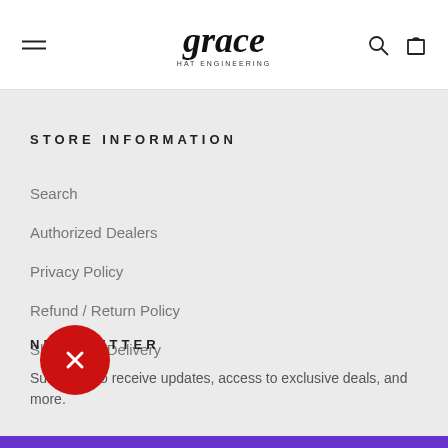grace hat engineering — navigation header with hamburger menu, logo, search and cart icons
STORE INFORMATION
Search
Authorized Dealers
Privacy Policy
Refund / Return Policy
Shipping & Delivery
NEWSLETTER
Subscribe to receive updates, access to exclusive deals, and more.